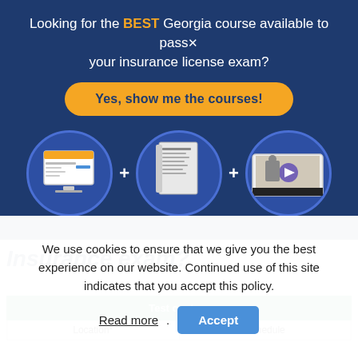Looking for the BEST Georgia course available to pass your insurance license exam?
[Figure (infographic): Three circular icons showing: a computer screen with a course interface, a study guide/book, and a video player with an instructor. Connected by plus signs.]
Insurance exam?
| Location* | Schedule |
| --- | --- |
We use cookies to ensure that we give you the best experience on our website. Continued use of this site indicates that you accept this policy.